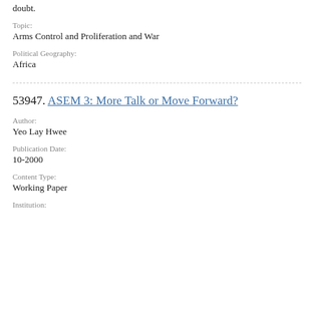doubt.
Topic:
Arms Control and Proliferation and War
Political Geography:
Africa
53947. ASEM 3: More Talk or Move Forward?
Author:
Yeo Lay Hwee
Publication Date:
10-2000
Content Type:
Working Paper
Institution: